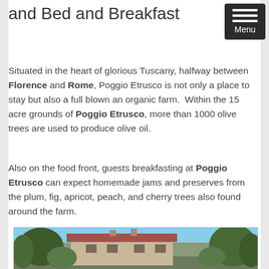and Bed and Breakfast
Situated in the heart of glorious Tuscany, halfway between Florence and Rome, Poggio Etrusco is not only a place to stay but also a full blown an organic farm.  Within the 15 acre grounds of Poggio Etrusco, more than 1000 olive trees are used to produce olive oil.
Also on the food front, guests breakfasting at Poggio Etrusco can expect homemade jams and preserves from the plum, fig, apricot, peach, and cherry trees also found around the farm.
[Figure (photo): Exterior photograph of Poggio Etrusco farmhouse in Tuscany, showing a stone/plaster building with terracotta tile roof surrounded by trees under a blue sky]